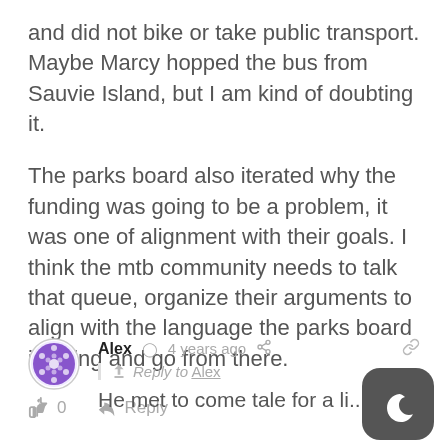and did not bike or take public transport. Maybe Marcy hopped the bus from Sauvie Island, but I am kind of doubting it.

The parks board also iterated why the funding was going to be a problem, it was one of alignment with their goals. I think the mtb community needs to talk that queue, organize their arguments to align with the language the parks board is using and go from there.
0  Reply
[Figure (illustration): User avatar for Alex - purple geometric/dotted pattern in a circle]
Alex  4 years ago  Reply to Alex